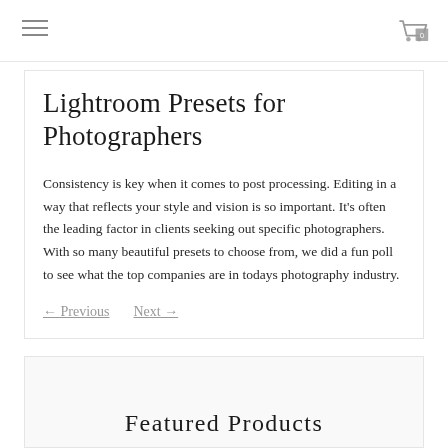menu icon | cart 0
Lightroom Presets for Photographers
Consistency is key when it comes to post processing. Editing in a way that reflects your style and vision is so important. It's often the leading factor in clients seeking out specific photographers. With so many beautiful presets to choose from, we did a fun poll to see what the top companies are in todays photography industry.
← Previous
Next →
Featured Products